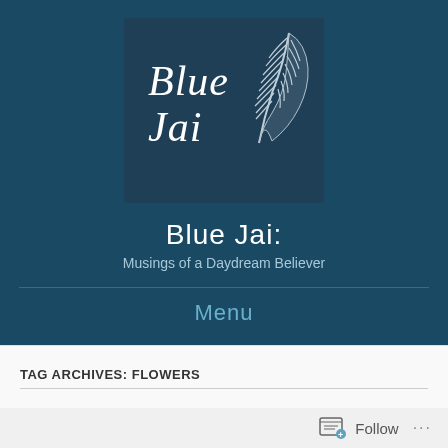[Figure (logo): Blue Jai blog logo: dark blue square with white cursive text 'Blue Jai' and a detailed feather illustration on the right]
Blue Jai:
Musings of a Daydream Believer
Menu
TAG ARCHIVES: FLOWERS
Follow